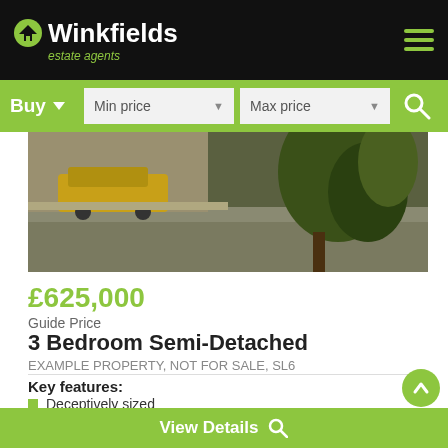Winkfields estate agents
Buy  Min price  Max price
[Figure (photo): Exterior photo of a semi-detached property driveway with a vehicle and plants visible]
£625,000
Guide Price
3 Bedroom Semi-Detached
EXAMPLE PROPERTY, NOT FOR SALE, SL6
Key features:
Deceptively sized
Three bedroom
Two bathroom
Semi-detached
View Details